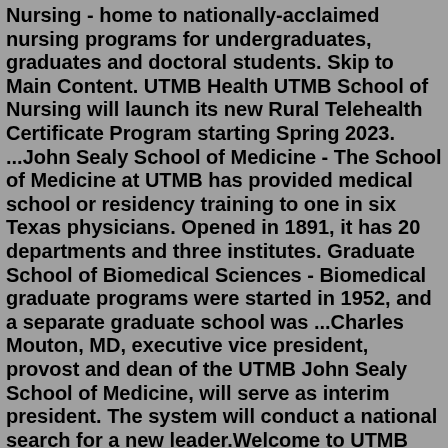Nursing - home to nationally-acclaimed nursing programs for undergraduates, graduates and doctoral students. Skip to Main Content. UTMB Health UTMB School of Nursing will launch its new Rural Telehealth Certificate Program starting Spring 2023. ...John Sealy School of Medicine - The School of Medicine at UTMB has provided medical school or residency training to one in six Texas physicians. Opened in 1891, it has 20 departments and three institutes. Graduate School of Biomedical Sciences - Biomedical graduate programs were started in 1952, and a separate graduate school was ...Charles Mouton, MD, executive vice president, provost and dean of the UTMB John Sealy School of Medicine, will serve as interim president. The system will conduct a national search for a new leader.Welcome to UTMB John Sealy School of Medicine. We are dedicated to providing the best available resources to help our Academic Enterprise flourish and fulfill our overall mission to improve health for the people of Texas and around the world. Office of Admissions.